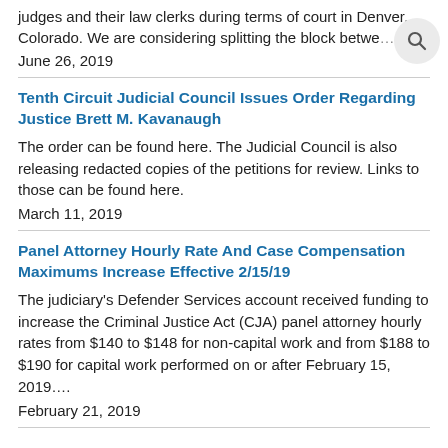judges and their law clerks during terms of court in Denver, Colorado. We are considering splitting the block betwe…
June 26, 2019
Tenth Circuit Judicial Council Issues Order Regarding Justice Brett M. Kavanaugh
The order can be found here. The Judicial Council is also releasing redacted copies of the petitions for review. Links to those can be found here.
March 11, 2019
Panel Attorney Hourly Rate And Case Compensation Maximums Increase Effective 2/15/19
The judiciary's Defender Services account received funding to increase the Criminal Justice Act (CJA) panel attorney hourly rates from $140 to $148 for non-capital work and from $188 to $190 for capital work performed on or after February 15, 2019….
February 21, 2019